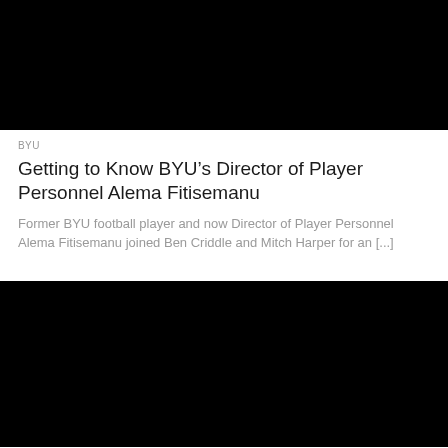[Figure (photo): Black thumbnail image for article video/media content (top)]
BYU
Getting to Know BYU’s Director of Player Personnel Alema Fitisemanu
Former BYU football player and now Director of Player Personnel Alema Fitisemanu joined Ben Criddle and Mitch Harper for an [...]
[Figure (photo): Black thumbnail image for article video/media content (bottom)]